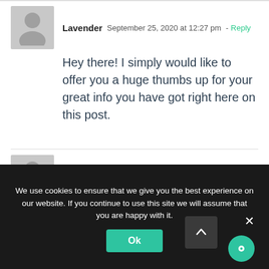Lavender  September 25, 2020 at 12:27 pm - Reply
Hey there! I simply would like to offer you a huge thumbs up for your great info you have got right here on this post.
Aman  October 9, 2020 at 9:53 am - Reply
Hi,

I have gone through your blog and I
We use cookies to ensure that we give you the best experience on our website. If you continue to use this site we will assume that you are happy with it.